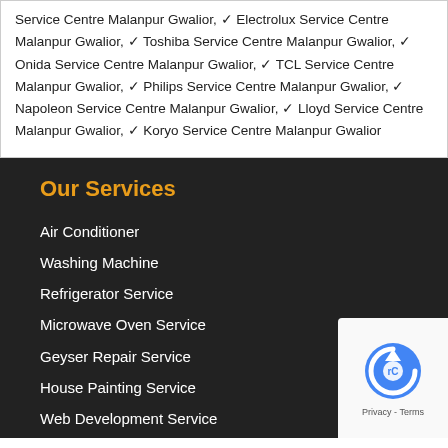Service Centre Malanpur Gwalior, ✓ Electrolux Service Centre Malanpur Gwalior, ✓ Toshiba Service Centre Malanpur Gwalior, ✓ Onida Service Centre Malanpur Gwalior, ✓ TCL Service Centre Malanpur Gwalior, ✓ Philips Service Centre Malanpur Gwalior, ✓ Napoleon Service Centre Malanpur Gwalior, ✓ Lloyd Service Centre Malanpur Gwalior, ✓ Koryo Service Centre Malanpur Gwalior
Our Services
Air Conditioner
Washing Machine
Refrigerator Service
Microwave Oven Service
Geyser Repair Service
House Painting Service
Web Development Service